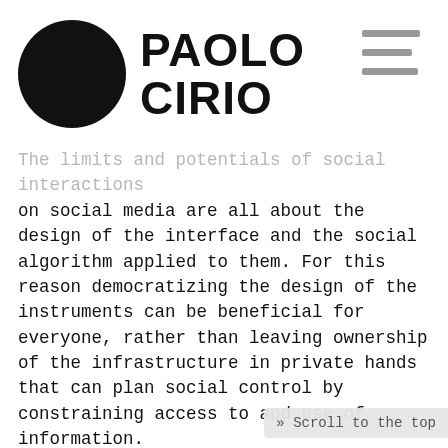PAOLO CIRIO
The limits and potentials of social interactions on social media are all about the design of the interface and the social algorithm applied to them. For this reason democratizing the design of the instruments can be beneficial for everyone, rather than leaving ownership of the infrastructure in private hands that can plan social control by constraining access to and use of information.
Social Sorting.
Political parties have begun to equip themselves with databases of millions of